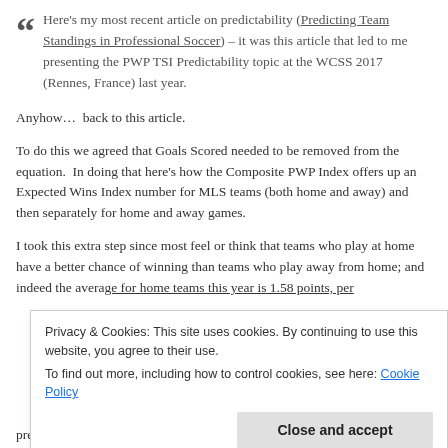Here's my most recent article on predictability (Predicting Team Standings in Professional Soccer) – it was this article that led to me presenting the PWP TSI Predictability topic at the WCSS 2017 (Rennes, France) last year.
Anyhow…  back to this article.
To do this we agreed that Goals Scored needed to be removed from the equation.  In doing that here's how the Composite PWP Index offers up an Expected Wins Index number for MLS teams (both home and away) and then separately for home and away games.
I took this extra step since most feel or think that teams who play at home have a better chance of winning than teams who play away from home; and indeed the average for home teams this year is 1.58 points, per
Privacy & Cookies: This site uses cookies. By continuing to use this website, you agree to their use.
To find out more, including how to control cookies, see here: Cookie Policy
predictability model based upon team performance (within a single game)